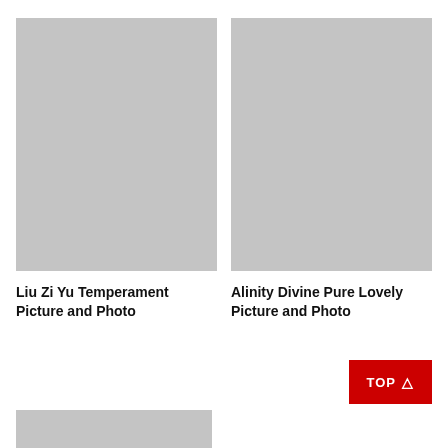[Figure (photo): Gray placeholder image for Liu Zi Yu Temperament Picture and Photo]
Liu Zi Yu Temperament Picture and Photo
[Figure (photo): Gray placeholder image for Alinity Divine Pure Lovely Picture and Photo]
Alinity Divine Pure Lovely Picture and Photo
[Figure (photo): Gray placeholder image at bottom left]
TOP ↑